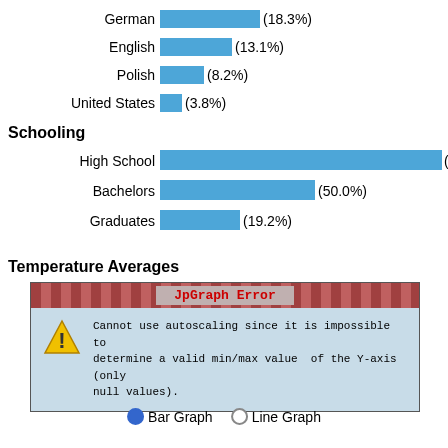[Figure (bar-chart): Language distribution (top of page)]
Schooling
[Figure (bar-chart): Schooling]
Temperature Averages
[Figure (other): JpGraph Error dialog box: Cannot use autoscaling since it is impossible to determine a valid min/max value of the Y-axis (only null values).]
Bar Graph   Line Graph